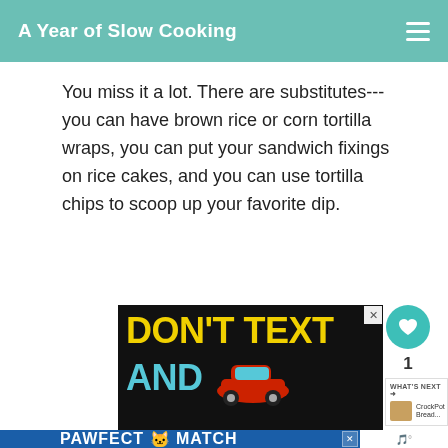A Year of Slow Cooking
You miss it a lot. There are substitutes---you can have brown rice or corn tortilla wraps, you can put your sandwich fixings on rice cakes, and you can use tortilla chips to scoop up your favorite dip.
[Figure (screenshot): Advertisement with black background showing 'DON'T TEXT AND' in large yellow and cyan text with a cartoon red car graphic]
[Figure (screenshot): Advertisement for 'PAWFECT MATCH' on a blue background with a cat image]